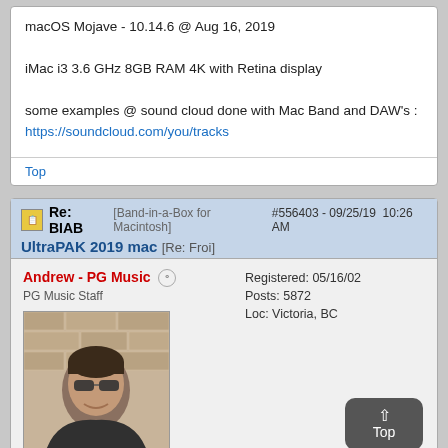macOS Mojave - 10.14.6 @ Aug 16, 2019
iMac i3 3.6 GHz 8GB RAM 4K with Retina display
some examples @ sound cloud done with Mac Band and DAW's : https://soundcloud.com/you/tracks
Top
Re: BIAB [Band-in-a-Box for Macintosh] #556403 - 09/25/19 10:26 AM UltraPAK 2019 mac [Re: Froi]
Andrew - PG Music
PG Music Staff
Registered: 05/16/02
Posts: 5872
Loc: Victoria, BC
[Figure (photo): Profile photo of Andrew from PG Music, man with sunglasses in front of brick wall]
Top